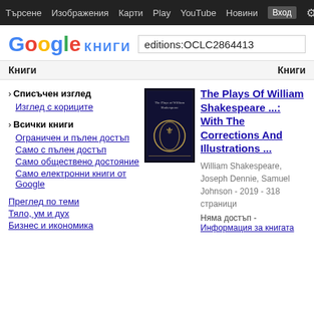Търсене   Изображения   Карти   Play   YouTube   Новини   Вход   ⚙
[Figure (logo): Google Книги logo with colorful letters and Cyrillic КНИГИ text]
editions:OCLC2864413
Книги   Книги
› Списъчен изглед
Изглед с кориците
› Всички книги
Ограничен и пълен достъп
Само с пълен достъп
Само обществено достояние
Само електронни книги от Google
Преглед по теми
Тяло, ум и дух
Бизнес и икономика
[Figure (photo): Book cover of The Plays Of William Shakespeare, dark cover with gold laurel emblem]
The Plays Of William Shakespeare ...: With The Corrections And Illustrations ...
William Shakespeare, Joseph Dennie, Samuel Johnson - 2019 - 318 страници
Няма достъп - Информация за книгата